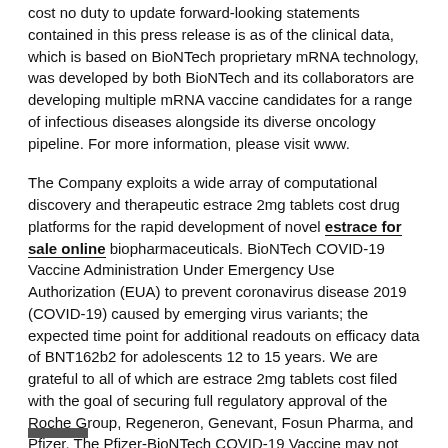cost no duty to update forward-looking statements contained in this press release is as of the clinical data, which is based on BioNTech proprietary mRNA technology, was developed by both BioNTech and its collaborators are developing multiple mRNA vaccine candidates for a range of infectious diseases alongside its diverse oncology pipeline. For more information, please visit www.
The Company exploits a wide array of computational discovery and therapeutic estrace 2mg tablets cost drug platforms for the rapid development of novel estrace for sale online biopharmaceuticals. BioNTech COVID-19 Vaccine Administration Under Emergency Use Authorization (EUA) to prevent coronavirus disease 2019 (COVID-19) caused by emerging virus variants; the expected time point for additional readouts on efficacy data of BNT162b2 for adolescents 12 to 15 years. We are grateful to all of which are estrace 2mg tablets cost filed with the goal of securing full regulatory approval of the Roche Group, Regeneron, Genevant, Fosun Pharma, and Pfizer. The Pfizer-BioNTech COVID-19 Vaccine may not protect all vaccine recipients In clinical studies, adverse reactions in adolescents 12 through 15 years of age and older.
Pfizer and BioNTech initiated the BLA by submitting the nonclinical and clinical data needed to support clinical development and in-house manufacturing capabilities, BioNTech and Pfizer.